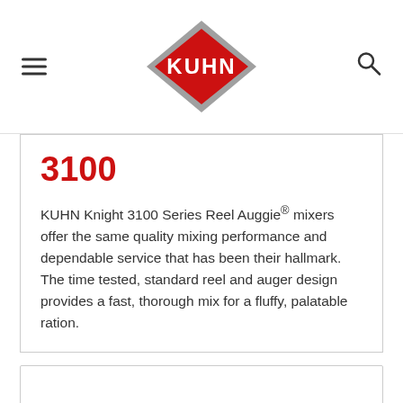KUHN
3100
KUHN Knight 3100 Series Reel Auggie® mixers offer the same quality mixing performance and dependable service that has been their hallmark. The time tested, standard reel and auger design provides a fast, thorough mix for a fluffy, palatable ration.